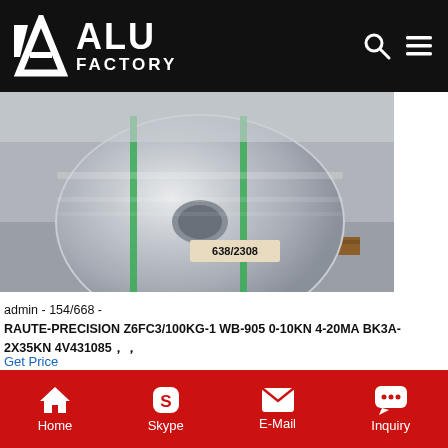ALU FACTORY
[Figure (photo): Large aluminum coil roll on a wooden pallet in a factory warehouse, with green straps. Label reads 638/2308.]
admin - 154/668 -
RAUTE-PRECISION Z6FC3/100KG-1 WB-905 0-10KN 4-20MA BK3A-2X35KN 4V431085…
Get Price
[Figure (photo): Blue-coated aluminum sheet panels stacked, partially visible.]
Home  Skype  E-Mail  Inquiry